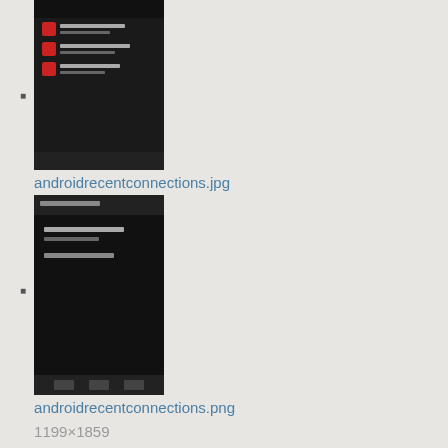androidrecentconnections.jpg
409×646
2013/07/30 22:58
52.5 KB
[Figure (screenshot): Thumbnail of androidrecentconnections.jpg - dark Android mobile screenshot showing recent connections list]
androidrecentconnections.png
1199×1859
2014/10/01 15:46
51.5 KB
[Figure (screenshot): Thumbnail of androidrecentconnections.png - dark Android mobile screenshot showing recent connections with minimal content]
api_doc1.pdf
2015/11/12 19:07
[Figure (other): PDF file icon with red Adobe PDF logo]